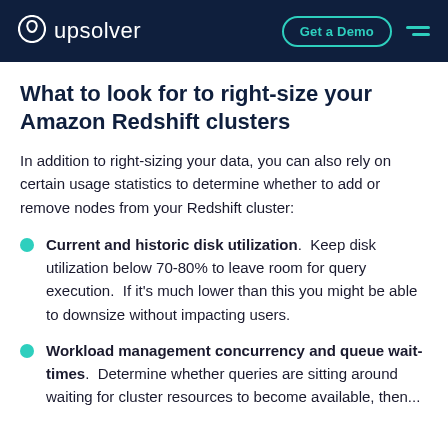upsolver | Get a Demo
What to look for to right-size your Amazon Redshift clusters
In addition to right-sizing your data, you can also rely on certain usage statistics to determine whether to add or remove nodes from your Redshift cluster:
Current and historic disk utilization. Keep disk utilization below 70-80% to leave room for query execution. If it’s much lower than this you might be able to downsize without impacting users.
Workload management concurrency and queue wait-times. Determine whether queries are sitting around waiting for cluster resources to become available, then...